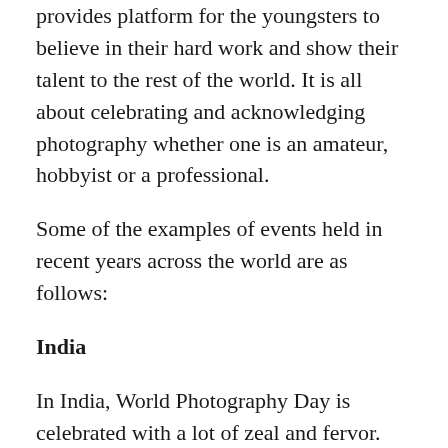provides platform for the youngsters to believe in their hard work and show their talent to the rest of the world. It is all about celebrating and acknowledging photography whether one is an amateur, hobbyist or a professional.
Some of the examples of events held in recent years across the world are as follows:
India
In India, World Photography Day is celebrated with a lot of zeal and fervor. Not only it is celebrated in its national capital but all over the country in all the states in the form of several activities undertaken by different groups of people. Students from various universities organize inter college competitions. One such event was recently